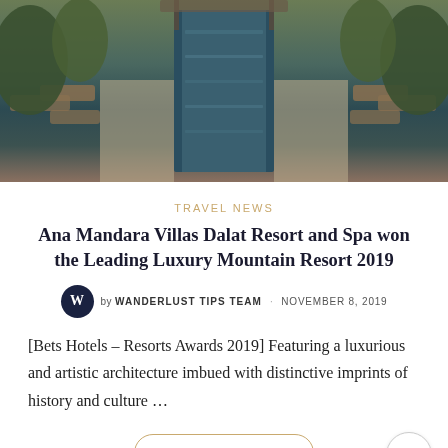[Figure (photo): Aerial/ground-level view of a luxury resort pool area with lounge chairs on both sides, surrounded by lush greenery, with a long reflective pool in the center]
TRAVEL NEWS
Ana Mandara Villas Dalat Resort and Spa won the Leading Luxury Mountain Resort 2019
by WANDERLUST TIPS TEAM   NOVEMBER 8, 2019
[Bets Hotels – Resorts Awards 2019] Featuring a luxurious and artistic architecture imbued with distinctive imprints of history and culture …
Continue reading